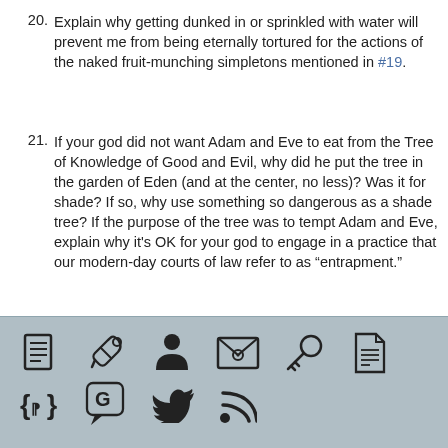20. Explain why getting dunked in or sprinkled with water will prevent me from being eternally tortured for the actions of the naked fruit-munching simpletons mentioned in #19.
21. If your god did not want Adam and Eve to eat from the Tree of Knowledge of Good and Evil, why did he put the tree in the garden of Eden (and at the center, no less)? Was it for shade? If so, why use something so dangerous as a shade tree? If the purpose of the tree was to tempt Adam and Eve, explain why it's OK for your god to engage in a practice that our modern-day courts of law refer to as “entrapment.”
[Figure (infographic): Footer bar with two rows of icon symbols: row 1 has a book/list icon, wrench icon, person/user icon, email/envelope icon, key icon, document icon; row 2 has a CSS braces/code icon, a speech bubble/G icon, a Twitter bird icon, and an RSS feed icon.]